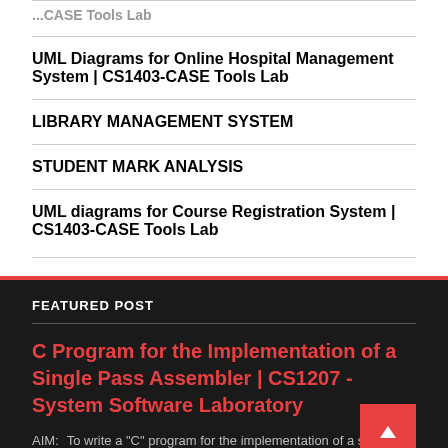UML Diagrams for Online Hospital Management System | CS1403-CASE Tools Lab
LIBRARY MANAGEMENT SYSTEM
STUDENT MARK ANALYSIS
UML diagrams for Course Registration System | CS1403-CASE Tools Lab
FEATURED POST
C Program for the Implementation of a Single Pass Assembler | CS1207 - System Software Laboratory
AIM:    To write a "C" program for the implementation of a single pass assembler | CS1207 - System Soft...